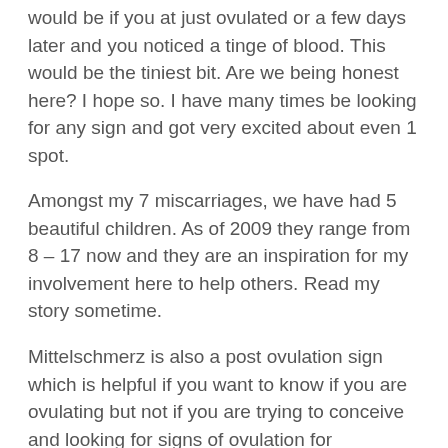would be if you at just ovulated or a few days later and you noticed a tinge of blood. This would be the tiniest bit. Are we being honest here? I hope so. I have many times be looking for any sign and got very excited about even 1 spot.
Amongst my 7 miscarriages, we have had 5 beautiful children. As of 2009 they range from 8 – 17 now and they are an inspiration for my involvement here to help others. Read my story sometime.
Mittelschmerz is also a post ovulation sign which is helpful if you want to know if you are ovulating but not if you are trying to conceive and looking for signs of ovulation for preconception.
Mittlelschmerz gets it name from the pain, a twangy kind of pain in the middle of the cycle. While it is associated with ovulation it is an “after thought” to ovulation.  The word mittelschmerz is German and has it roots from “mid-cycle pain”. Many may have